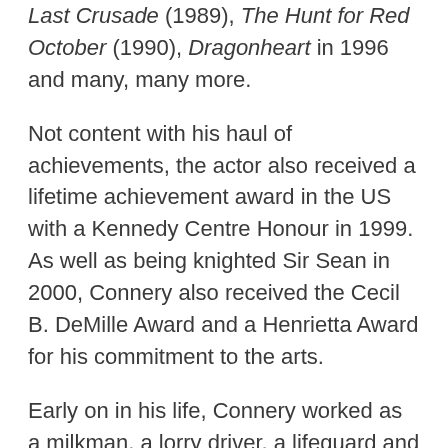Last Crusade (1989), The Hunt for Red October (1990), Dragonheart in 1996 and many, many more.
Not content with his haul of achievements, the actor also received a lifetime achievement award in the US with a Kennedy Centre Honour in 1999. As well as being knighted Sir Sean in 2000, Connery also received the Cecil B. DeMille Award and a Henrietta Award for his commitment to the arts.
Early on in his life, Connery worked as a milkman, a lorry driver, a lifeguard and even a coffin polisher at one point. He was also a keen footballer who was offered a contract by Matt Busby, the erstwhile manager of Manchester United but Connery turned it